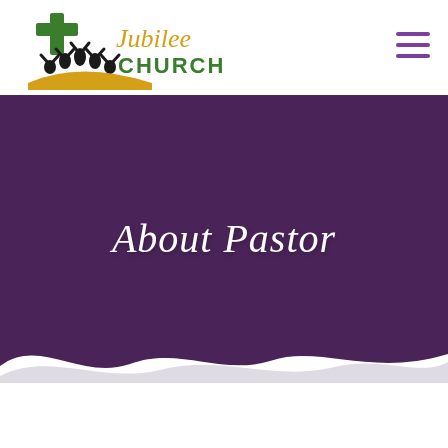[Figure (logo): Jubilee Church logo with green cross, gold silhouette of people, and church name in green and gold text]
[Figure (other): Hamburger menu icon (three horizontal purple lines)]
About Pastor